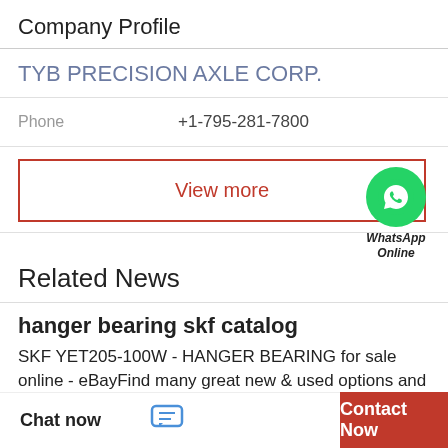Company Profile
TYB PRECISION AXLE CORP.
Phone   +1-795-281-7800
View more
[Figure (logo): WhatsApp green circle icon with phone handset, labeled 'WhatsApp Online']
Related News
hanger bearing skf catalog
SKF YET205-100W - HANGER BEARING for sale online - eBayFind many great new & used options and get the best deals for SKF YET205-100W - HANGER
Chat now
Contact Now